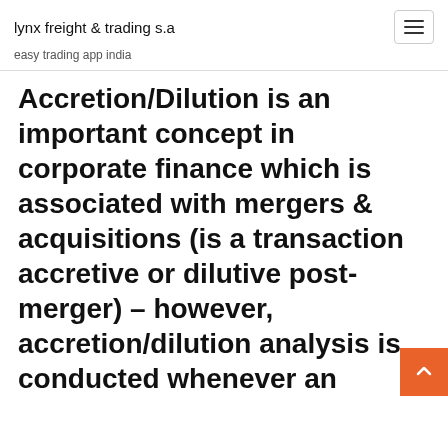lynx freight & trading s.a
easy trading app india
Accretion/Dilution is an important concept in corporate finance which is associated with mergers & acquisitions (is a transaction accretive or dilutive post-merger) – however, accretion/dilution analysis is conducted whenever an